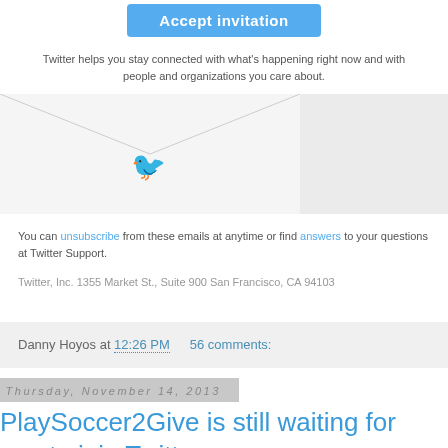[Figure (screenshot): Blue 'Accept invitation' button on white background]
Twitter helps you stay connected with what's happening right now and with people and organizations you care about.
[Figure (illustration): Envelope illustration with Twitter bird icon, split into left white/gray section and right darker gray section]
You can unsubscribe from these emails at anytime or find answers to your questions at Twitter Support.
Twitter, Inc. 1355 Market St., Suite 900 San Francisco, CA 94103
Danny Hoyos at 12:26 PM   56 comments:
Thursday, November 14, 2013
PlaySoccer2Give is still waiting for you to join Twitter...